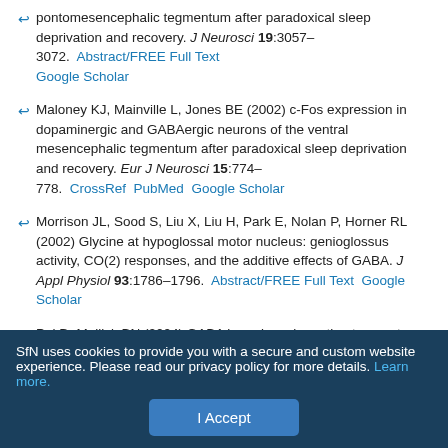pontomesencephalic tegmentum after paradoxical sleep deprivation and recovery. J Neurosci 19:3057–3072.  Abstract/FREE Full Text  Google Scholar
Maloney KJ, Mainville L, Jones BE (2002) c-Fos expression in dopaminergic and GABAergic neurons of the ventral mesencephalic tegmentum after paradoxical sleep deprivation and recovery. Eur J Neurosci 15:774–778.  CrossRef  PubMed  Google Scholar
Morrison JL, Sood S, Liu X, Liu H, Park E, Nolan P, Horner RL (2002) Glycine at hypoglossal motor nucleus: genioglossus activity, CO(2) responses, and the additive effects of GABA. J Appl Physiol 93:1786–1796.  Abstract/FREE Full Text  Google Scholar
Pal D, Mallick BN (2004) GABA in pedunculopontine tegmentum regulates spontaneous rapid eye movement sleep by acting on GABAA receptors in freely moving rats. Neurosci Lett 365:200–204.  CrossRef  PubMed
SfN uses cookies to provide you with a secure and custom website experience. Please read our privacy policy for more details. Learn more.